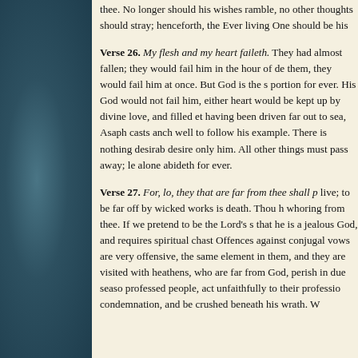thee. No longer should his wishes ramble, no other thoughts should stray; henceforth, the Ever living One should be his
Verse 26. My flesh and my heart faileth. They had almost fallen; they would fail him in the hour of de them, they would fail him at once. But God is the s portion for ever. His God would not fail him, either heart would be kept up by divine love, and filled et having been driven far out to sea, Asaph casts anch well to follow his example. There is nothing desirab desire only him. All other things must pass away; le alone abideth for ever.
Verse 27. For, lo, they that are far from thee shall p live; to be far off by wicked works is death. Thou h whoring from thee. If we pretend to be the Lord's s that he is a jealous God, and requires spiritual chast Offences against conjugal vows are very offensive, the same element in them, and they are visited with heathens, who are far from God, perish in due seaso professed people, act unfaithfully to their professio condemnation, and be crushed beneath his wrath. W